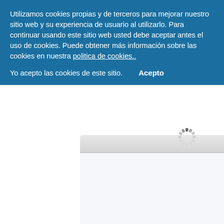Utilizamos cookies propias y de terceros para mejorar nuestro sitio web y su experiencia de usuario al utilizarlo. Para continuar usando este sitio web usted debe aceptar antes el uso de cookies. Puede obtener más información sobre las cookies en nuestra politica de cookies..
Yo acepto las cookies de este sitio.    Acepto
[Figure (screenshot): Partial browser window screenshot showing a light gray titlebar and content area with a loading spinner (circular dashed ring) visible in the lower right portion]